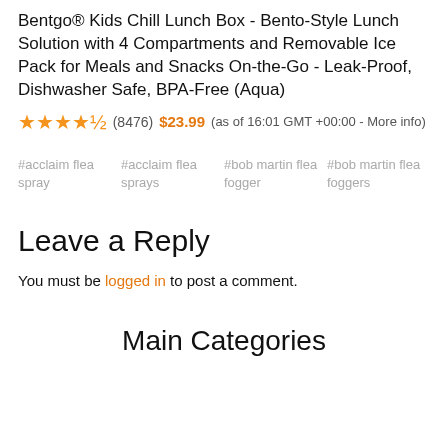Bentgo® Kids Chill Lunch Box - Bento-Style Lunch Solution with 4 Compartments and Removable Ice Pack for Meals and Snacks On-the-Go - Leak-Proof, Dishwasher Safe, BPA-Free (Aqua)
★★★★½ (8476) $23.99 (as of 16:01 GMT +00:00 - More info)
#acclaim flea spray
#acclaim flea sprays
#bob martin flea fogger
#bob martin flea foggers
Leave a Reply
You must be logged in to post a comment.
Main Categories